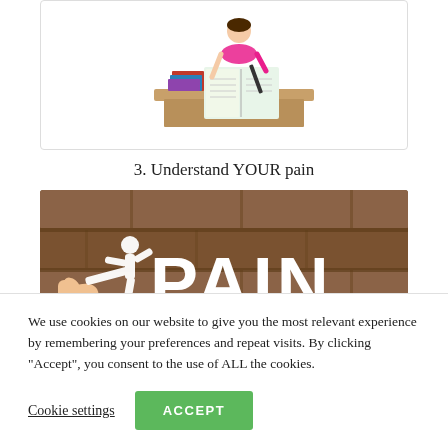[Figure (illustration): Illustration of a person in pink sitting at a desk writing/studying with books open]
3. Understand YOUR pain
[Figure (photo): Photo of a hand holding a paper cutout of a kicking figure next to large white letters spelling PAIN against a rustic wooden brick wall background]
We use cookies on our website to give you the most relevant experience by remembering your preferences and repeat visits. By clicking “Accept”, you consent to the use of ALL the cookies.
Cookie settings
ACCEPT